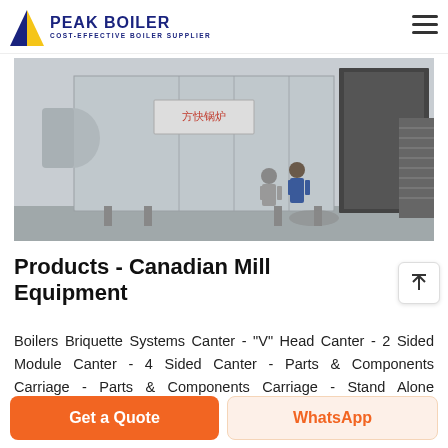PEAK BOILER COST-EFFECTIVE BOILER SUPPLIER
[Figure (photo): Industrial boiler equipment installation at a facility. Large silver/metal insulated boiler unit with ductwork on the left, a dark rectangular structure on the right, and two workers standing in front of the equipment. Chinese text signage visible on the boiler.]
Products - Canadian Mill Equipment
Boilers Briquette Systems Canter - "V" Head Canter - 2 Sided Module Canter - 4 Sided Canter - Parts & Components Carriage - Parts & Components Carriage - Stand Alone Carriage - Syst...
Get a Quote
WhatsApp